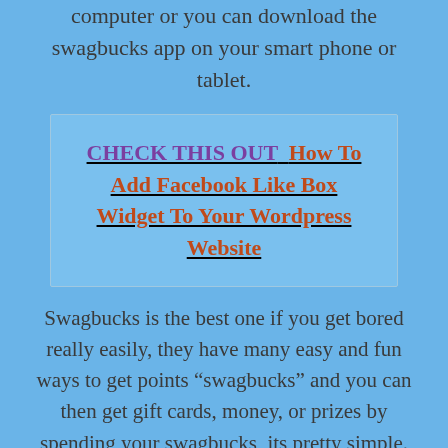computer or you can download the swagbucks app on your smart phone or tablet.
CHECK THIS OUT  How To Add Facebook Like Box Widget To Your Wordpress Website
Swagbucks is the best one if you get bored really easily, they have many easy and fun ways to get points “swagbucks” and you can then get gift cards, money, or prizes by spending your swagbucks, its pretty simple. You can use their search engine, fill out surveys, and even play games against other people to win swagbucks, with swagbucks you